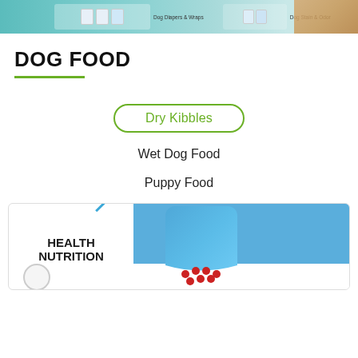[Figure (screenshot): Banner image showing dog care products including Dog Diapers & Wraps and Dog Stain & Odor sections, with a dog visible on the right side]
DOG FOOD
Dry Kibbles
Wet Dog Food
Puppy Food
[Figure (photo): Royal Canin Health Nutrition dog food bag in blue packaging with red paw crown logo, shown alongside a Health Nutrition branded circular badge]